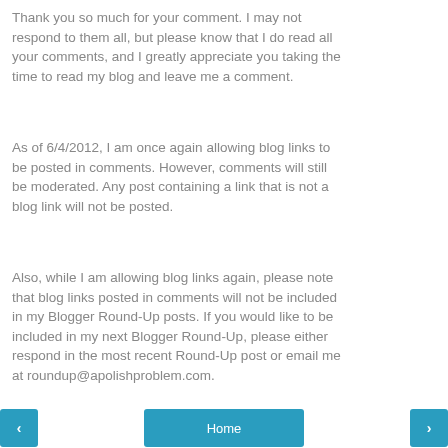Thank you so much for your comment. I may not respond to them all, but please know that I do read all your comments, and I greatly appreciate you taking the time to read my blog and leave me a comment.
As of 6/4/2012, I am once again allowing blog links to be posted in comments. However, comments will still be moderated. Any post containing a link that is not a blog link will not be posted.
Also, while I am allowing blog links again, please note that blog links posted in comments will not be included in my Blogger Round-Up posts. If you would like to be included in my next Blogger Round-Up, please either respond in the most recent Round-Up post or email me at roundup@apolishproblem.com.
< Home >